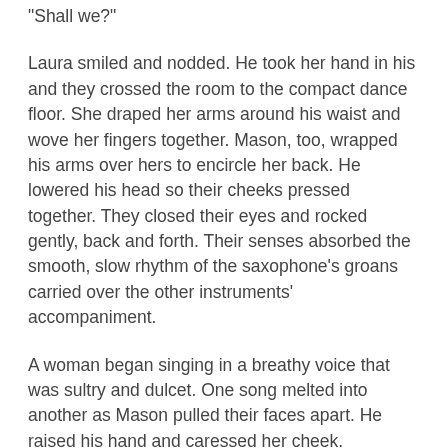“Shall we?”
Laura smiled and nodded. He took her hand in his and they crossed the room to the compact dance floor. She draped her arms around his waist and wove her fingers together. Mason, too, wrapped his arms over hers to encircle her back. He lowered his head so their cheeks pressed together. They closed their eyes and rocked gently, back and forth. Their senses absorbed the smooth, slow rhythm of the saxophone’s groans carried over the other instruments’ accompaniment.
A woman began singing in a breathy voice that was sultry and dulcet. One song melted into another as Mason pulled their faces apart. He raised his hand and caressed her cheek. Gradually, Laura sleepily opened her eyes and gazed at him as if she were under his spell. And again, she closed her eyes as his mouth neared hers. She could feel his slow, hot breaths while his head subtly circled so their lips barely touched. But every time she felt his silky lips grazing her own, the nerves within her plump lips tingled with electricity that sent butterflies filling her chest and belly, and